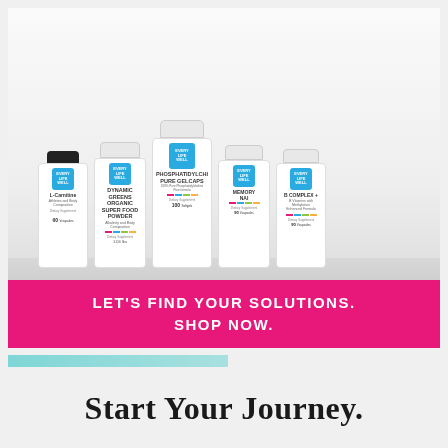[Figure (photo): Five white supplement bottles from Every Life Well brand arranged on a shelf/counter: L-Carnitine (black cap, 60 count), Dynamic Greens Organic Superfood Powder, Phosphatidylcholine Pure Gelcaps (100 count, tallest center bottle), Memory NAI, B Complex+ — all with white labels, blue square ELW logos, and colorful bar accents]
LET'S FIND YOUR SOLUTIONS. SHOP NOW.
Start Your Journey.